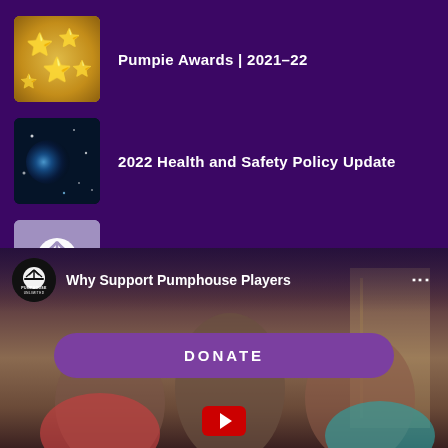Pumpie Awards | 2021-22
2022 Health and Safety Policy Update
2021-22 Unlimited Season
[Figure (screenshot): Video thumbnail for 'Why Support Pumphouse Players' with channel logo, DONATE button overlay, and play button]
Why Support Pumphouse Players
DONATE